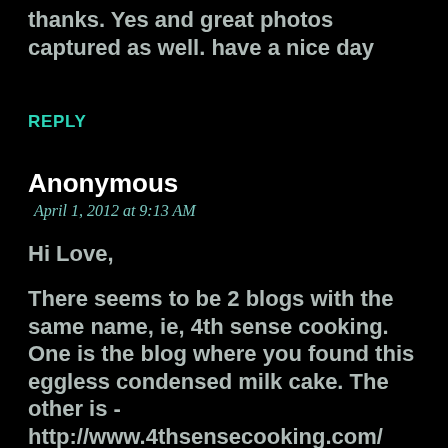thanks. Yes and great photos captured as well. have a nice day
REPLY
Anonymous
April 1, 2012 at 9:13 AM
Hi Love,
There seems to be 2 blogs with the same name, ie, 4th sense cooking. One is the blog where you found this eggless condensed milk cake. The other is - http://www.4thsensecooking.com/